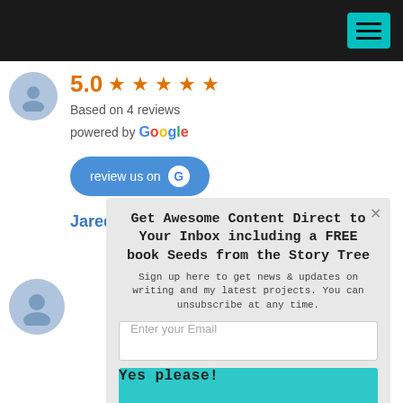Navigation bar with hamburger menu
5.0 ★★★★★
Based on 4 reviews
powered by Google
review us on G
Jared Smith
Get Awesome Content Direct to Your Inbox including a FREE book Seeds from the Story Tree
Sign up here to get news & updates on writing and my latest projects. You can unsubscribe at any time.
Enter your Email
Yes please!